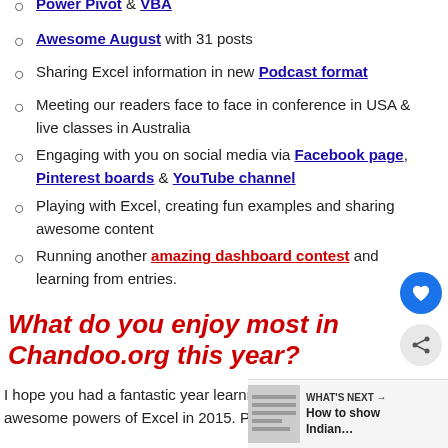Power Pivot & VBA
Awesome August with 31 posts
Sharing Excel information in new Podcast format
Meeting our readers face to face in conference in USA & live classes in Australia
Engaging with you on social media via Facebook page, Pinterest boards & YouTube channel
Playing with Excel, creating fun examples and sharing awesome content
Running another amazing dashboard contest and learning from entries.
What do you enjoy most in Chandoo.org this year?
I hope you had a fantastic year learning and unlocking awesome powers of Excel in 2015. Please share your favorite